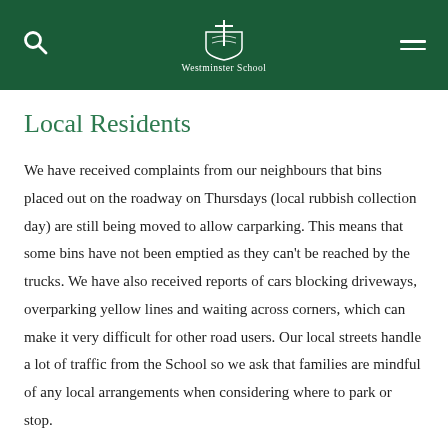Westminster School
Local Residents
We have received complaints from our neighbours that bins placed out on the roadway on Thursdays (local rubbish collection day) are still being moved to allow carparking. This means that some bins have not been emptied as they can't be reached by the trucks. We have also received reports of cars blocking driveways, overparking yellow lines and waiting across corners, which can make it very difficult for other road users. Our local streets handle a lot of traffic from the School so we ask that families are mindful of any local arrangements when considering where to park or stop.